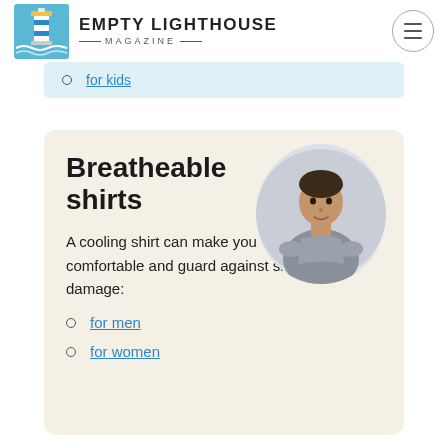EMPTY LIGHTHOUSE MAGAZINE
for kids
Breatheable shirts
A cooling shirt can make you comfortable and guard against skin damage:
[Figure (photo): Man wearing a grey breathable t-shirt, shown from shoulders up, circular cropped photo]
for men
for women